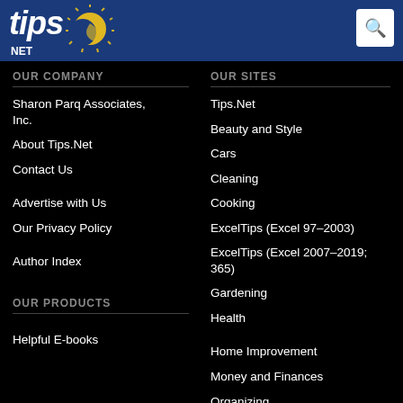[Figure (logo): Tips.Net logo with sun graphic on dark blue header background]
OUR COMPANY
Sharon Parq Associates, Inc.
About Tips.Net
Contact Us
Advertise with Us
Our Privacy Policy
Author Index
OUR PRODUCTS
Helpful E-books
OUR SITES
Tips.Net
Beauty and Style
Cars
Cleaning
Cooking
ExcelTips (Excel 97–2003)
ExcelTips (Excel 2007–2019; 365)
Gardening
Health
Home Improvement
Money and Finances
Organizing